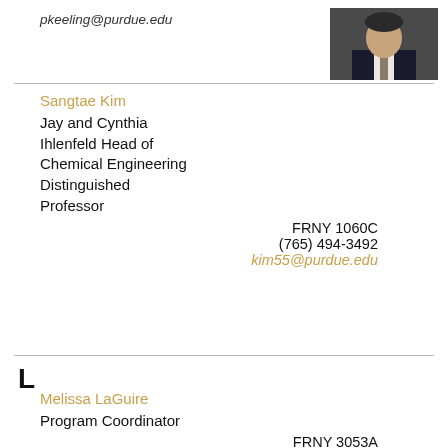pkeeling@purdue.edu
[Figure (photo): Headshot of a man in a dark suit and tie]
Sangtae Kim
Jay and Cynthia Ihlenfeld Head of Chemical Engineering Distinguished Professor
FRNY 1060C
(765) 494-3492
kim55@purdue.edu
L
Melissa LaGuire
Program Coordinator
FRNY 3053A